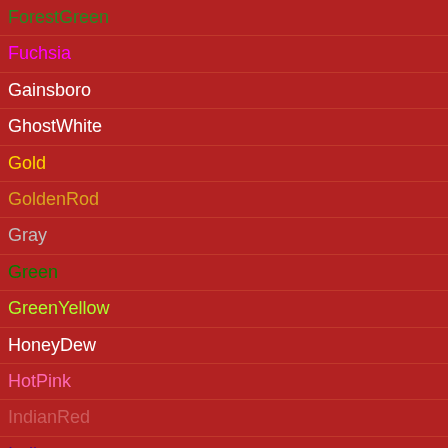ForestGreen
Fuchsia
Gainsboro
GhostWhite
Gold
GoldenRod
Gray
Green
GreenYellow
HoneyDew
HotPink
IndianRed
Indigo
Ivory
Khaki
Lavender
LavenderBlush
LawnGreen